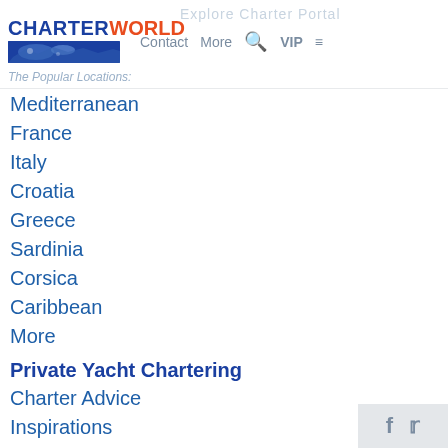CHARTERWORLD | Contact More VIP
The Popular Locations:
Mediterranean
France
Italy
Croatia
Greece
Sardinia
Corsica
Caribbean
More
Private Yacht Chartering
Charter Advice
Inspirations
The Charter Yachts
The Yacht Builders
The Locations
Feature Yachts